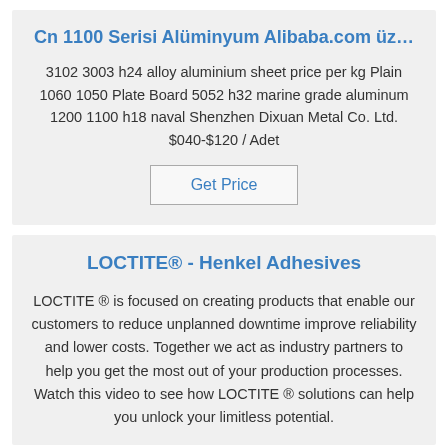Cn 1100 Serisi Alüminyum Alibaba.com üz…
3102 3003 h24 alloy aluminium sheet price per kg Plain 1060 1050 Plate Board 5052 h32 marine grade aluminum 1200 1100 h18 naval Shenzhen Dixuan Metal Co. Ltd. $040-$120 / Adet
Get Price
LOCTITE® - Henkel Adhesives
LOCTITE ® is focused on creating products that enable our customers to reduce unplanned downtime improve reliability and lower costs. Together we act as industry partners to help you get the most out of your production processes. Watch this video to see how LOCTITE ® solutions can help you unlock your limitless potential.